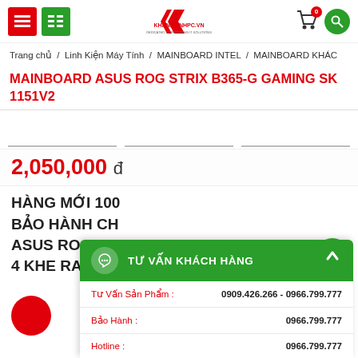KHANHLINHPC.VN header with navigation icons, logo, cart (0), and search button
Trang chủ / Linh Kiện Máy Tính / MAINBOARD INTEL / MAINBOARD KHÁC
MAINBOARD ASUS ROG STRIX B365-G GAMING SK 1151V2
[Figure (photo): Product image thumbnail strip with three placeholder thumbnail boxes]
2,050,000 đ
HÀNG MỚI 100% BẢO HÀNH CH ASUS ROG GA 4 KHE RAM ĐIỆN CẤP
TƯ VẤN KHÁCH HÀNG
Tư Vấn Sản Phẩm : 0909.426.266 - 0966.799.777
Bảo Hành : 0966.799.777
Hotline : 0966.799.777